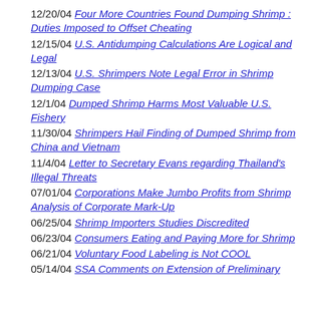12/20/04 Four More Countries Found Dumping Shrimp : Duties Imposed to Offset Cheating
12/15/04 U.S. Antidumping Calculations Are Logical and Legal
12/13/04 U.S. Shrimpers Note Legal Error in Shrimp Dumping Case
12/1/04 Dumped Shrimp Harms Most Valuable U.S. Fishery
11/30/04 Shrimpers Hail Finding of Dumped Shrimp from China and Vietnam
11/4/04 Letter to Secretary Evans regarding Thailand's Illegal Threats
07/01/04 Corporations Make Jumbo Profits from Shrimp Analysis of Corporate Mark-Up
06/25/04 Shrimp Importers Studies Discredited
06/23/04 Consumers Eating and Paying More for Shrimp
06/21/04 Voluntary Food Labeling is Not COOL
05/14/04 SSA Comments on Extension of Preliminary